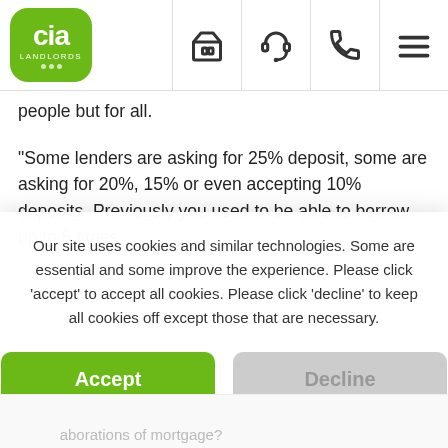CIA LANDLORDS [logo] [icons: home, headset, phone, menu]
people but for all.
"Some lenders are asking for 25% deposit, some are asking for 20%, 15% or even accepting 10% deposits. Previously you used to be able to borrow up to 5 times
Our site uses cookies and similar technologies. Some are essential and some improve the experience. Please click ‘accept’ to accept all cookies. Please click ‘decline’ to keep all cookies off except those that are necessary.
Accept
Decline
Configure